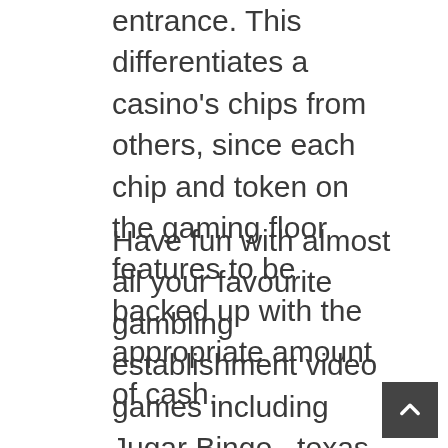entrance. This differentiates a casino's chips from others, since each chip and token on the gaming floor features to be backed up with the appropriate amount of cash.
Have fun with almost all your favourite gambling establishment video games including Jugar Bingo , texas holdem, blackjack, craps, roulette, slot machines and very much extra. Aside from the grievous disrespect the episode showed towards Sth Africa's iconic initial african american us president, keep in mind this was basically a good being worried exhibition of how the tenets of the ANC's political fashion inside of exile had turn in the rule of the ANC inside of govern- ment: centralised decision-making, unquestioned dedication, no more community complaint and